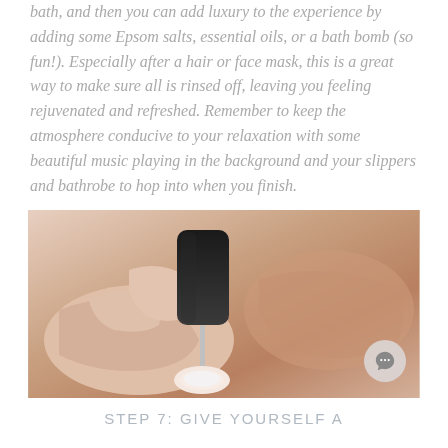bath, and then you can add luxury to the experience by adding some Epsom salts, essential oils, or a bath bomb (so fun!). Especially after a hair or face mask, this is a great way to make sure all is rinsed off, leaving you feeling rejuvenated and refreshed. Remember to keep the atmosphere conducive to your relaxation with some beautiful music playing in the background and your slippers and bathrobe to hop into when you finish.
[Figure (photo): Close-up of hands painting fingernails with clear nail polish, warm skin tones]
STEP 7: GIVE YOURSELF A